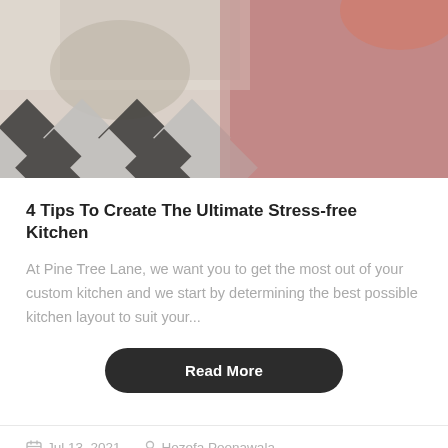[Figure (photo): Blurred kitchen photo showing black and white diamond-patterned floor tiles and a pink/mauve wall or cabinet panel]
4 Tips To Create The Ultimate Stress-free Kitchen
At Pine Tree Lane, we want you to get the most out of your custom kitchen and we start by determining the best possible kitchen layout to suit your...
Read More
Jul 13, 2021   Hozefa Poonawala